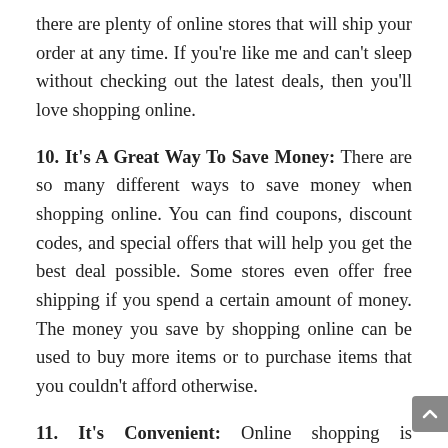there are plenty of online stores that will ship your order at any time. If you're like me and can't sleep without checking out the latest deals, then you'll love shopping online.
10. It's A Great Way To Save Money: There are so many different ways to save money when shopping online. You can find coupons, discount codes, and special offers that will help you get the best deal possible. Some stores even offer free shipping if you spend a certain amount of money. The money you save by shopping online can be used to buy more items or to purchase items that you couldn't afford otherwise.
11. It's Convenient: Online shopping is extremely